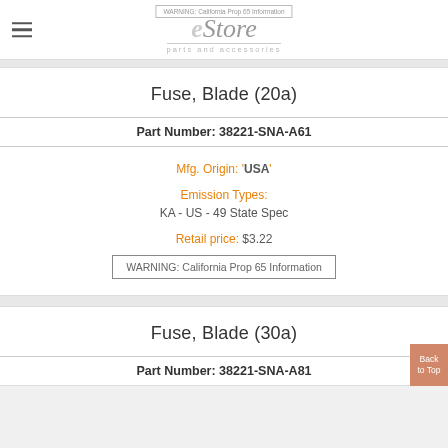eStore parts and accessories
WARNING: California Prop 65 Information
Fuse, Blade (20a)
Part Number: 38221-SNA-A61
Mfg. Origin: 'USA'
Emission Types: KA - US - 49 State Spec
Retail price: $3.22
WARNING: California Prop 65 Information
Fuse, Blade (30a)
Part Number: 38221-SNA-A81